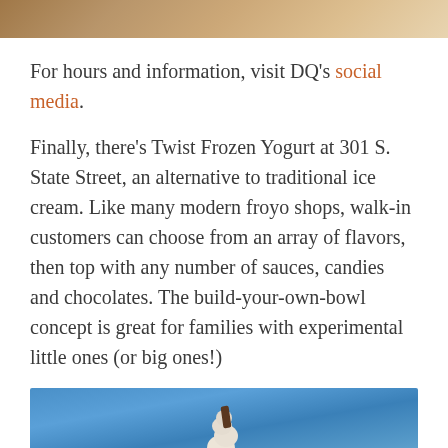[Figure (photo): Partial photo cropped at top of page, showing a person (top portion cut off)]
For hours and information, visit DQ's social media.
Finally, there's Twist Frozen Yogurt at 301 S. State Street, an alternative to traditional ice cream. Like many modern froyo shops, walk-in customers can choose from an array of flavors, then top with any number of sauces, candies and chocolates. The build-your-own-bowl concept is great for families with experimental little ones (or big ones!)
[Figure (photo): Photo of a soft-serve ice cream cone with a chocolate flake, held up against a blue sky background]